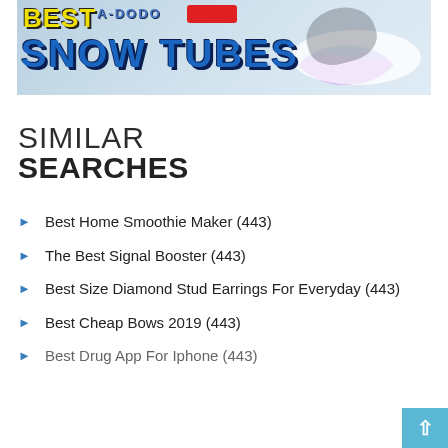[Figure (photo): Banner advertisement for Best Snow Tubes featuring colorful inflatable snow tubes and a person sledding, with bold yellow 'BEST' and blue 'SNOW TUBES' text]
SIMILAR SEARCHES
Best Home Smoothie Maker (443)
The Best Signal Booster (443)
Best Size Diamond Stud Earrings For Everyday (443)
Best Cheap Bows 2019 (443)
Best Drug App For Iphone (443)